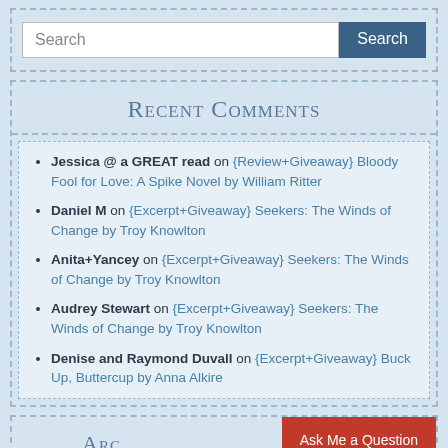Search [input] Search [button]
Recent Comments
Jessica @ a GREAT read on {Review+Giveaway} Bloody Fool for Love: A Spike Novel by William Ritter
Daniel M on {Excerpt+Giveaway} Seekers: The Winds of Change by Troy Knowlton
Anita+Yancey on {Excerpt+Giveaway} Seekers: The Winds of Change by Troy Knowlton
Audrey Stewart on {Excerpt+Giveaway} Seekers: The Winds of Change by Troy Knowlton
Denise and Raymond Duvall on {Excerpt+Giveaway} Buck Up, Buttercup by Anna Alkire
Ask Me a Question
Arc...